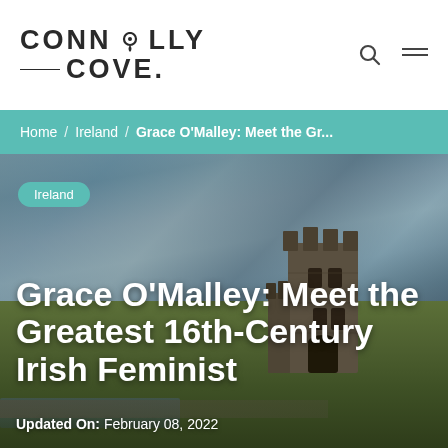CONNOLLY COVE.
Home / Ireland / Grace O'Malley: Meet the Gr...
[Figure (photo): Photograph of a medieval Irish stone tower castle on a flat coastal landscape with dramatic cloudy sky and green grass. The castle is centrally-right positioned with water reflections visible in the foreground.]
Ireland
Grace O'Malley: Meet the Greatest 16th-Century Irish Feminist
Updated On: February 08, 2022